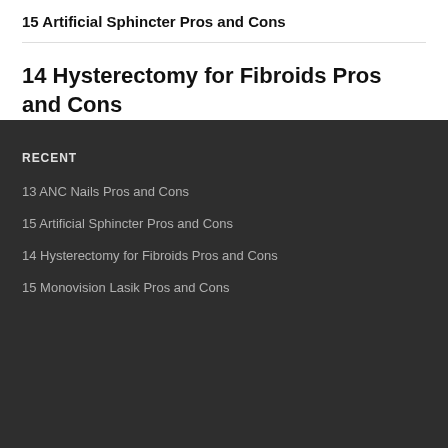15 Artificial Sphincter Pros and Cons
14 Hysterectomy for Fibroids Pros and Cons
RECENT
13 ANC Nails Pros and Cons
15 Artificial Sphincter Pros and Cons
14 Hysterectomy for Fibroids Pros and Cons
15 Monovision Lasik Pros and Cons